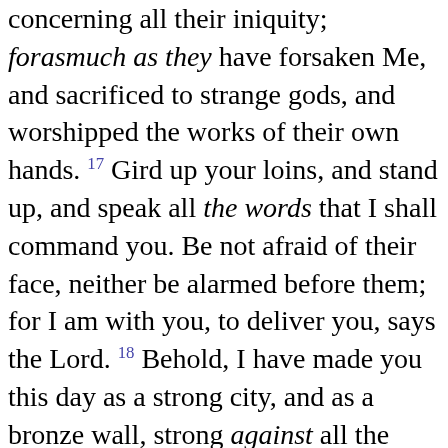concerning all their iniquity; forasmuch as they have forsaken Me, and sacrificed to strange gods, and worshipped the works of their own hands. 17 Gird up your loins, and stand up, and speak all the words that I shall command you. Be not afraid of their face, neither be alarmed before them; for I am with you, to deliver you, says the Lord. 18 Behold, I have made you this day as a strong city, and as a bronze wall, strong against all the kings of Judah and its princes, and the people of the land. 19 And they shall fight against you, but they shall by no means prevail against you; because I am with you, to deliver you, says the Lord.